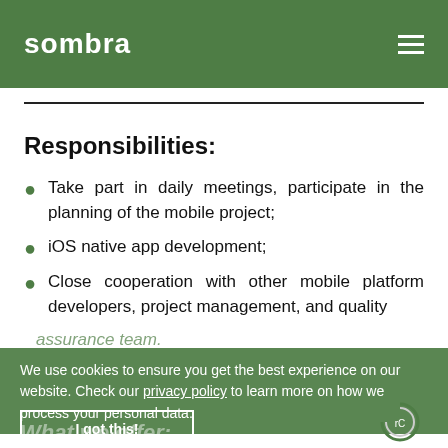sombra
Responsibilities:
Take part in daily meetings, participate in the planning of the mobile project;
iOS native app development;
Close cooperation with other mobile platform developers, project management, and quality assurance team.
We use cookies to ensure you get the best experience on our website. Check our privacy policy to learn more on how we process your personal data.
I got this!
What we offer: